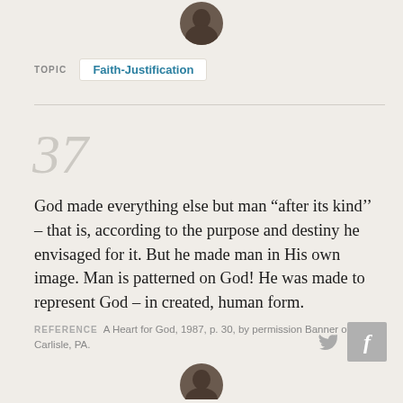[Figure (photo): Circular avatar photo of a person at the top of the page]
TOPIC   Faith-Justification
37
God made everything else but man “after its kind’’ – that is, according to the purpose and destiny he envisaged for it. But he made man in His own image. Man is patterned on God! He was made to represent God – in created, human form.
REFERENCE   A Heart for God, 1987, p. 30, by permission Banner of Truth, Carlisle, PA.
[Figure (photo): Circular avatar photo of a person at the bottom of the page]